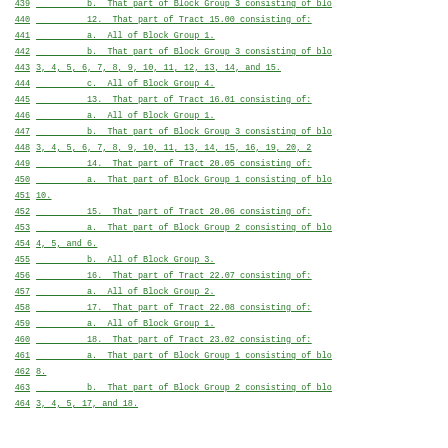439  b.  That part of Block Group 3 consisting of blo
440  12.  That part of Tract 15.00 consisting of:
441  a.  All of Block Group 1.
442  b.  That part of Block Group 3 consisting of blo
443  3, 4, 5, 6, 7, 8, 9, 10, 11, 12, 13, 14, and 15.
444  c.  All of Block Group 4.
445  13.  That part of Tract 16.01 consisting of:
446  a.  All of Block Group 1.
447  b.  That part of Block Group 3 consisting of blo
448  3, 4, 5, 6, 7, 8, 9, 10, 11, 13, 14, 15, 16, 19, 20, 2
449  14.  That part of Tract 20.05 consisting of:
450  a.  That part of Block Group 1 consisting of blo
451  10.
452  15.  That part of Tract 20.06 consisting of:
453  a.  That part of Block Group 2 consisting of blo
454  4, 5, and 6.
455  b.  All of Block Group 3.
456  16.  That part of Tract 22.07 consisting of:
457  a.  All of Block Group 2.
458  17.  That part of Tract 22.08 consisting of:
459  a.  All of Block Group 1.
460  18.  That part of Tract 23.02 consisting of:
461  a.  That part of Block Group 1 consisting of blo
462  8.
463  b.  That part of Block Group 2 consisting of blo
464  3, 4, 5, 17, and 18.